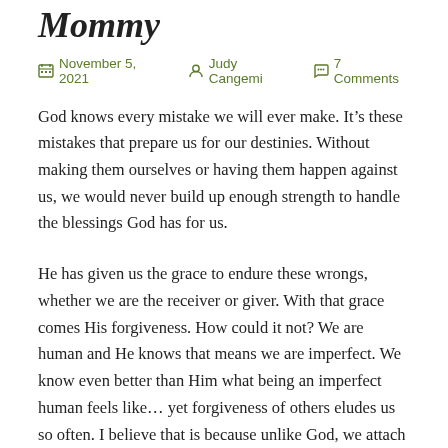Mommy
November 5, 2021   Judy Cangemi   7 Comments
God knows every mistake we will ever make. It’s these mistakes that prepare us for our destinies. Without making them ourselves or having them happen against us, we would never build up enough strength to handle the blessings God has for us.
He has given us the grace to endure these wrongs, whether we are the receiver or giver. With that grace comes His forgiveness. How could it not? We are human and He knows that means we are imperfect. We know even better than Him what being an imperfect human feels like… yet forgiveness of others eludes us so often. I believe that is because unlike God, we attach expectations on others based upon our needs and wants from them rather than what God has equipped them with or considering what their true